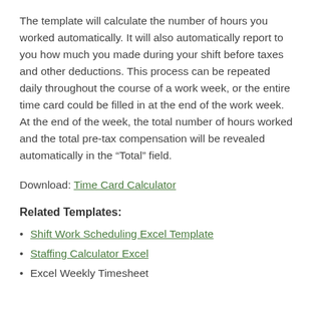The template will calculate the number of hours you worked automatically. It will also automatically report to you how much you made during your shift before taxes and other deductions. This process can be repeated daily throughout the course of a work week, or the entire time card could be filled in at the end of the work week. At the end of the week, the total number of hours worked and the total pre-tax compensation will be revealed automatically in the “Total” field.
Download: Time Card Calculator
Related Templates:
Shift Work Scheduling Excel Template
Staffing Calculator Excel
Excel Weekly Timesheet